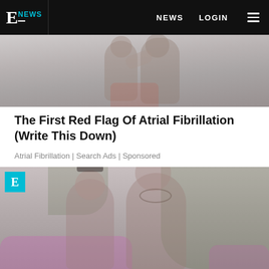E NEWS  NEWS  LOGIN
[Figure (photo): Partial photo of two people, cropped at top, appears to show someone in athletic wear, blurred/faded]
The First Red Flag Of Atrial Fibrillation (Write This Down)
Atrial Fibrillation | Search Ads | Sponsored
[Figure (photo): Photo of a couple posing outdoors with pink flowers and palm trees in background; woman wearing sunglasses, man shirtless with sunglasses; E! News logo badge top left]